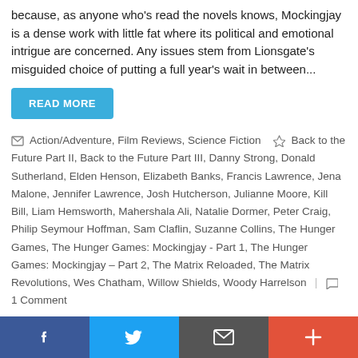because, as anyone who's read the novels knows, Mockingjay is a dense work with little fat where its political and emotional intrigue are concerned. Any issues stem from Lionsgate's misguided choice of putting a full year's wait in between...
READ MORE
Action/Adventure, Film Reviews, Science Fiction  Back to the Future Part II, Back to the Future Part III, Danny Strong, Donald Sutherland, Elden Henson, Elizabeth Banks, Francis Lawrence, Jena Malone, Jennifer Lawrence, Josh Hutcherson, Julianne Moore, Kill Bill, Liam Hemsworth, Mahershala Ali, Natalie Dormer, Peter Craig, Philip Seymour Hoffman, Sam Claflin, Suzanne Collins, The Hunger Games, The Hunger Games: Mockingjay - Part 1, The Hunger Games: Mockingjay – Part 2, The Matrix Reloaded, The Matrix Revolutions, Wes Chatham, Willow Shields, Woody Harrelson  | 1 Comment
REVIEW: The Hunger Games: Mockingjay – Part